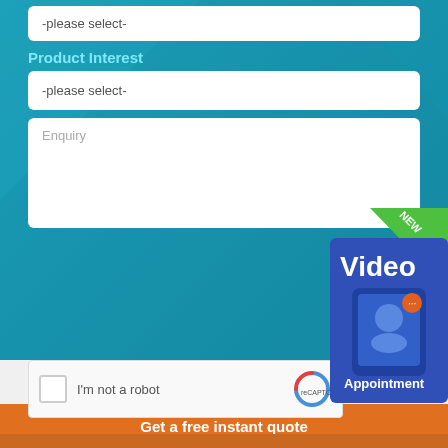-please select-
Product Interest
-please select-
Enquiry
[Figure (screenshot): reCAPTCHA widget with checkbox and 'I'm not a robot' text and reCAPTCHA logo]
[Figure (screenshot): Video Appointment badge with NEW label, phone graphic, and 'Appointment' text on blue/green background]
We use cookies to ensure that we give you the best experience on our website. If you continue without changing your settings, we'll assume that you are happy to receive all cookies. Read how we use cookies.
ACCEPT AND HIDE
Click to call us 0800 50 50 70
Get a free instant quote